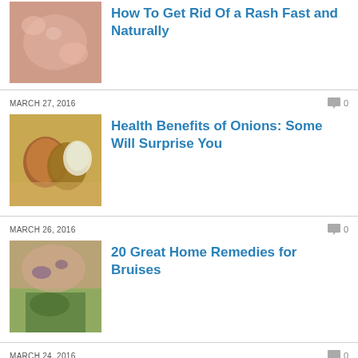[Figure (photo): Close-up photo of a skin rash, pinkish-red texture]
How To Get Rid Of a Rash Fast and Naturally
MARCH 27, 2016
[Figure (photo): Photo of various onions on a wooden surface]
Health Benefits of Onions: Some Will Surprise You
MARCH 26, 2016
[Figure (photo): Photo of bruised skin with green background]
20 Great Home Remedies for Bruises
MARCH 24, 2016
[Figure (photo): Photo of a woman holding her ear, appearing to be in pain from tinnitus]
How to Get Rid of Tinnitus-A Problem of Ears
MARCH 29, 2016